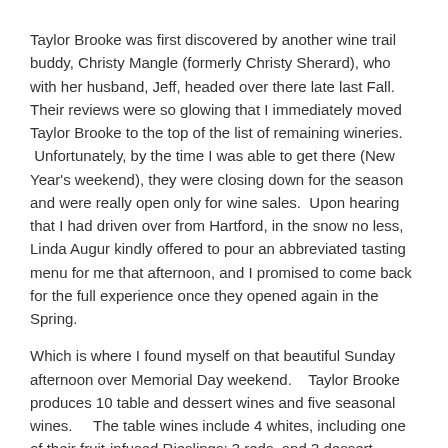Taylor Brooke was first discovered by another wine trail buddy, Christy Mangle (formerly Christy Sherard), who with her husband, Jeff, headed over there late last Fall. Their reviews were so glowing that I immediately moved Taylor Brooke to the top of the list of remaining wineries.  Unfortunately, by the time I was able to get there (New Year's weekend), they were closing down for the season and were really open only for wine sales.  Upon hearing that I had driven over from Hartford, in the snow no less, Linda Augur kindly offered to pour an abbreviated tasting menu for me that afternoon, and I promised to come back for the full experience once they opened again in the Spring.
Which is where I found myself on that beautiful Sunday afternoon over Memorial Day weekend.   Taylor Brooke produces 10 table and dessert wines and five seasonal wines.    The table wines include 4 whites, including one of their fruit-infused Rieslings; 3 reds, and 3 dessert wines.  Guests are invited to taste two wines on the house, and then can select either another six wines (for a total of 8 ) for $4 or the entire menu, including any of the available seasonal wines, for $6.  A logo glass may be purchased for an additional $3.  Never one to pass up an opportunity to sample new wines, I immediately opted for the full tasting menu for $6.